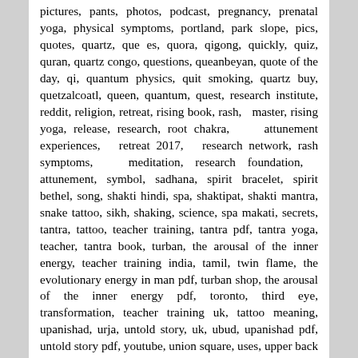pictures, pants, photos, podcast, pregnancy, prenatal yoga, physical symptoms, portland, park slope, pics, quotes, quartz, que es, quora, qigong, quickly, quiz, quran, quartz congo, questions, queanbeyan, quote of the day, qi, quantum physics, quit smoking, quartz buy, quetzalcoatl, queen, quantum, quest, research institute, reddit, religion, retreat, rising book, rash, master, rising yoga, release, research, root chakra, attunement experiences, retreat 2017, research network, rash symptoms, meditation, research foundation, attunement, symbol, sadhana, spirit bracelet, spirit bethel, song, shakti hindi, spa, shaktipat, shakti mantra, snake tattoo, sikh, shaking, science, spa makati, secrets, tantra, tattoo, teacher training, tantra pdf, tantra yoga, teacher, tantra book, turban, the arousal of the inner energy, teacher training india, tamil, twin flame, the evolutionary energy in man pdf, turban shop, the arousal of the inner energy pdf, toronto, third eye, transformation, teacher training uk, tattoo meaning, upanishad, urja, untold story, uk, ubud, upanishad pdf, untold story pdf, youtube, union square, uses, upper back pain, yoga london, yoga video, yoga denver, yoga music, video, vs holy spirit, vs hatha, vidya, vs vinyasa, vancouver, vs hatha yoga, vibrations, venice, vs chi, vertigo, val di mello, visions, victoria bc, visualization, victoria, vipassana, and prana, voices, and